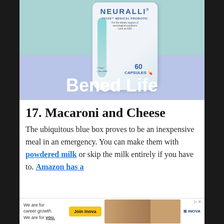[Figure (photo): Advertisement for Neuralli PS128 Medical Probiotic by Bened Life — product box shown against teal and periwinkle background with 'Bened Life' branding in white text.]
17. Macaroni and Cheese
The ubiquitous blue box proves to be an inexpensive meal in an emergency. You can make them with powdered milk or skip the milk entirely if you have to. Amazon has a
[Figure (photo): Inova career growth advertisement banner with woman, yellow 'Join Inova' button, and Inova logo.]